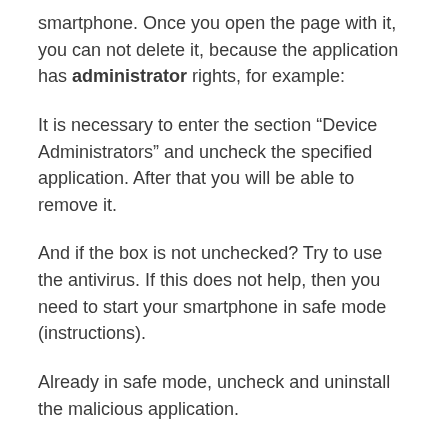smartphone. Once you open the page with it, you can not delete it, because the application has administrator rights, for example:
It is necessary to enter the section “Device Administrators” and uncheck the specified application. After that you will be able to remove it.
And if the box is not unchecked? Try to use the antivirus. If this does not help, then you need to start your smartphone in safe mode (instructions).
Already in safe mode, uncheck and uninstall the malicious application.
I looked at the device administration class on the Android developer page. But there is no method to